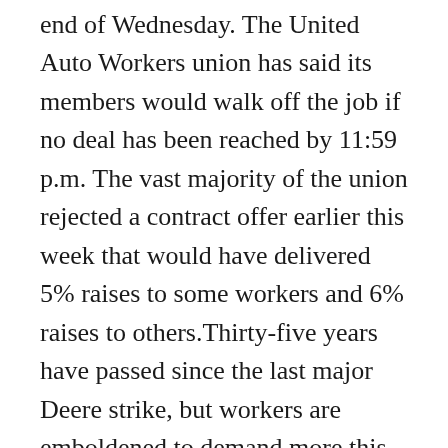end of Wednesday. The United Auto Workers union has said its members would walk off the job if no deal has been reached by 11:59 p.m. The vast majority of the union rejected a contract offer earlier this week that would have delivered 5% raises to some workers and 6% raises to others.Thirty-five years have passed since the last major Deere strike, but workers are emboldened to demand more this year after working long hours throughout the pandemic and because companies are facing worker shortages.Chris Laursen, who works as a painter at Deere, told the Des Moines Register that he thinks a strike is imminent and could make a significant difference.“The whole nation’s going to be watching us,” Laursen said to the newspaper. “If we take a stand here for ourselves, our families, for basic human prosperity, it’s